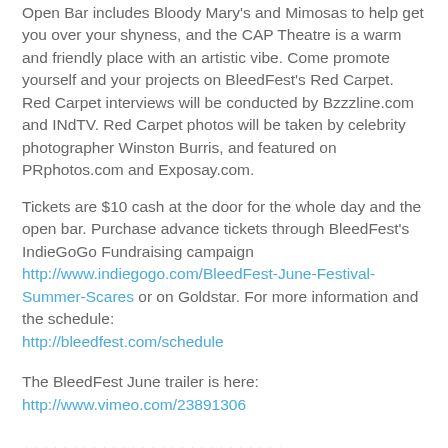Open Bar includes Bloody Mary's and Mimosas to help get you over your shyness, and the CAP Theatre is a warm and friendly place with an artistic vibe. Come promote yourself and your projects on BleedFest's Red Carpet. Red Carpet interviews will be conducted by Bzzzline.com and INdTV. Red Carpet photos will be taken by celebrity photographer Winston Burris, and featured on PRphotos.com and Exposay.com.
Tickets are $10 cash at the door for the whole day and the open bar. Purchase advance tickets through BleedFest's IndieGoGo Fundraising campaign  http://www.indiegogo.com/BleedFest-June-Festival-Summer-Scares or on Goldstar. For more information and the schedule: http://bleedfest.com/schedule
The BleedFest June trailer is here: http://www.vimeo.com/23891306
+++++++++++++++++++++++++++